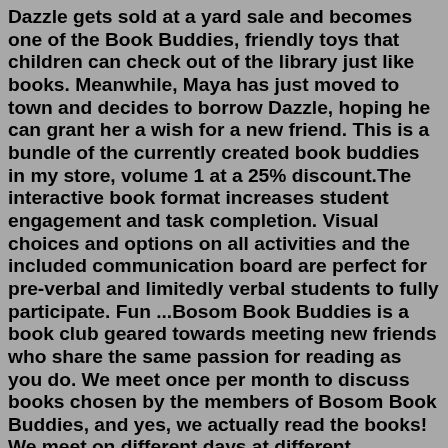Dazzle gets sold at a yard sale and becomes one of the Book Buddies, friendly toys that children can check out of the library just like books. Meanwhile, Maya has just moved to town and decides to borrow Dazzle, hoping he can grant her a wish for a new friend. This is a bundle of the currently created book buddies in my store, volume 1 at a 25% discount.The interactive book format increases student engagement and task completion. Visual choices and options on all activities and the included communication board are perfect for pre-verbal and limitedly verbal students to fully participate. Fun ...Bosom Book Buddies is a book club geared towards meeting new friends who share the same passion for reading as you do. We meet once per month to discuss books chosen by the members of Bosom Book Buddies, and yes, we actually read the books! We meet on different days at different restaurants around Jacksonville to make sure everyone has a chance ...Bosom Book Buddies is a book club geared towards meeting new friends who share the same passion for reading as you do. We